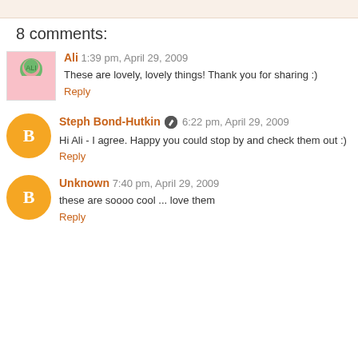8 comments:
Ali  1:39 pm, April 29, 2009
These are lovely, lovely things! Thank you for sharing :)
Reply
Steph Bond-Hutkin  6:22 pm, April 29, 2009
Hi Ali - I agree. Happy you could stop by and check them out :)
Reply
Unknown  7:40 pm, April 29, 2009
these are soooo cool ... love them
Reply